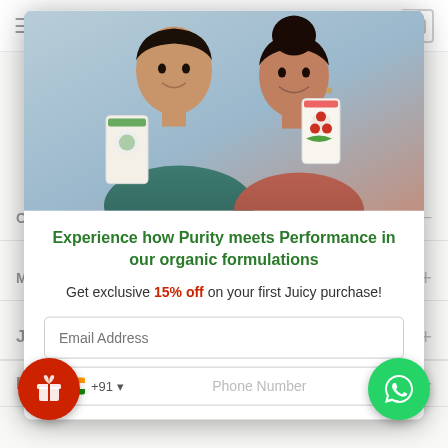[Figure (screenshot): E-commerce product page background showing navigation bar with hamburger menu and cart icon, and accordion-style product detail rows labeled Juicy, Ingredients, Manufacturing, Origin of Ingredients]
[Figure (photo): Modal popup overlay showing a smiling man and woman holding product boxes with organic botanical design, on a light blue-gray background]
Experience how Purity meets Performance in our organic formulations
Get exclusive 15% off on your first Juicy purchase!
Email Address
+91  Phone Number